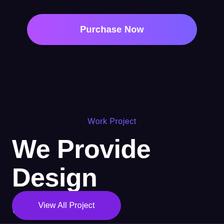[Figure (other): A rounded pill-shaped button with a purple-to-violet gradient reading 'Purchase Now' in white bold text]
Work Project
We Provide Design Service
[Figure (other): A rounded pill-shaped button in solid purple reading 'View All Project' in white text]